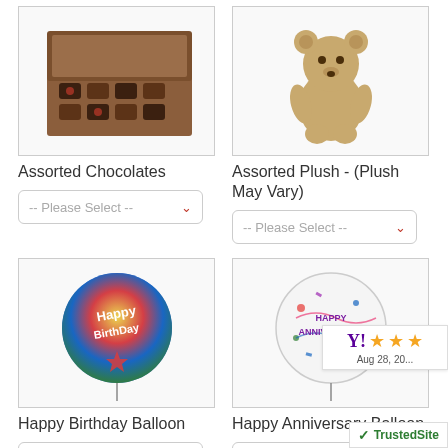[Figure (photo): Box of assorted chocolates, open lid showing chocolates inside]
Assorted Chocolates
[Figure (other): -- Please Select -- dropdown]
[Figure (photo): Teddy bear plush toy]
Assorted Plush - (Plush May Vary)
[Figure (other): -- Please Select -- dropdown]
[Figure (photo): Happy Birthday balloon, colorful round balloon]
Happy Birthday Balloon
[Figure (other): -- Please Select -- dropdown]
[Figure (photo): Happy Anniversary Balloon, round clear balloon with colorful text]
Happy Anniversary Balloon
[Figure (other): -- Please Select -- dropdown]
[Figure (photo): Red heart-shaped I Love You balloon]
[Figure (photo): Small teddy bear plush]
Aug 28, 20...
TrustedSite